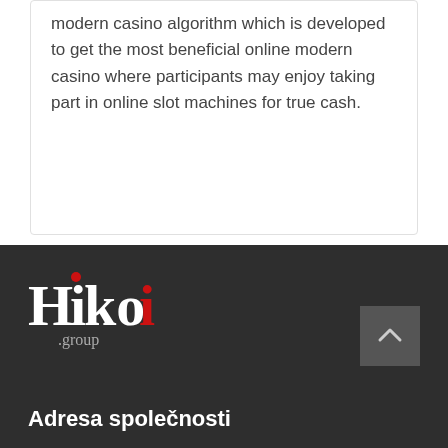modern casino algorithm which is developed to get the most beneficial online modern casino where participants may enjoy taking part in online slot machines for true cash.
[Figure (logo): Hikoi.group logo in white and red text on dark background]
Adresa společnosti